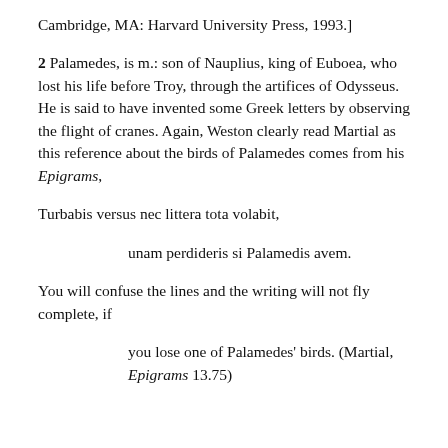Cambridge, MA: Harvard University Press, 1993.]
2 Palamedes, is m.: son of Nauplius, king of Euboea, who lost his life before Troy, through the artifices of Odysseus. He is said to have invented some Greek letters by observing the flight of cranes. Again, Weston clearly read Martial as this reference about the birds of Palamedes comes from his Epigrams,
Turbabis versus nec littera tota volabit,
unam perdideris si Palamedis avem.
You will confuse the lines and the writing will not fly complete, if
you lose one of Palamedes' birds. (Martial, Epigrams 13.75)